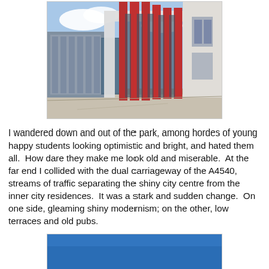[Figure (photo): Modern building with red vertical columns/fins and white concrete facade, shot from street level at an angle. Blue sky visible above.]
I wandered down and out of the park, among hordes of young happy students looking optimistic and bright, and hated them all.  How dare they make me look old and miserable.  At the far end I collided with the dual carriageway of the A4540, streams of traffic separating the shiny city centre from the inner city residences.  It was a stark and sudden change.  On one side, gleaming shiny modernism; on the other, low terraces and old pubs.
[Figure (photo): Bottom of a photo showing blue sky, partially cut off at the bottom of the page.]